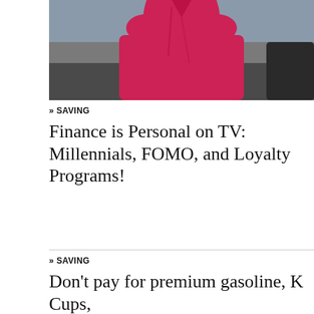[Figure (photo): A person wearing a red/pink top, partial torso view, likely in an office or studio setting with blurred background.]
» SAVING
Finance is Personal on TV: Millennials, FOMO, and Loyalty Programs!
» SAVING
Don't pay for premium gasoline, K Cups,